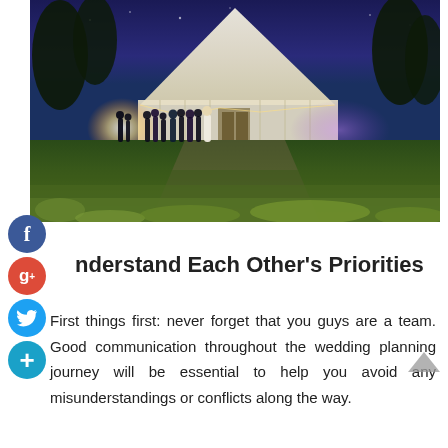[Figure (photo): Outdoor wedding reception at dusk/night with a large white marquee tent illuminated with warm and purple lights, guests gathered outside on a green lawn, trees silhouetted against a deep blue evening sky.]
Understand Each Other’s Priorities
First things first: never forget that you guys are a team. Good communication throughout the wedding planning journey will be essential to help you avoid any misunderstandings or conflicts along the way.